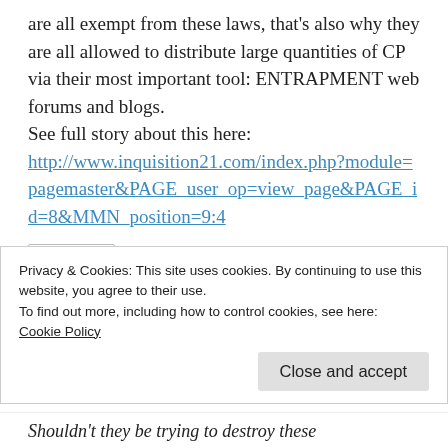are all exempt from these laws, that's also why they are all allowed to distribute large quantities of CP via their most important tool: ENTRAPMENT web forums and blogs.
See full story about this here:
http://www.inquisition21.com/index.php?module=pagemaster&PAGE_user_op=view_page&PAGE_id=8&MMN_position=9:4
Reply
Privacy & Cookies: This site uses cookies. By continuing to use this website, you agree to their use.
To find out more, including how to control cookies, see here:
Cookie Policy
Close and accept
Shouldn't they be trying to destroy these